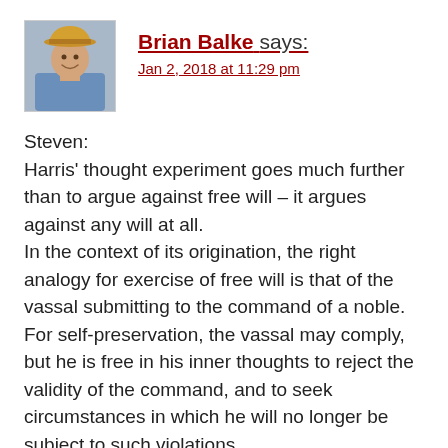[Figure (photo): Avatar photo of a man wearing a yellow straw hat and blue shirt, smiling]
Brian Balke says:
Jan 2, 2018 at 11:29 pm
Steven:
Harris' thought experiment goes much further than to argue against free will – it argues against any will at all.
In the context of its origination, the right analogy for exercise of free will is that of the vassal submitting to the command of a noble. For self-preservation, the vassal may comply, but he is free in his inner thoughts to reject the validity of the command, and to seek circumstances in which he will no longer be subject to such violations.
In the larger sense, the love tendered from the